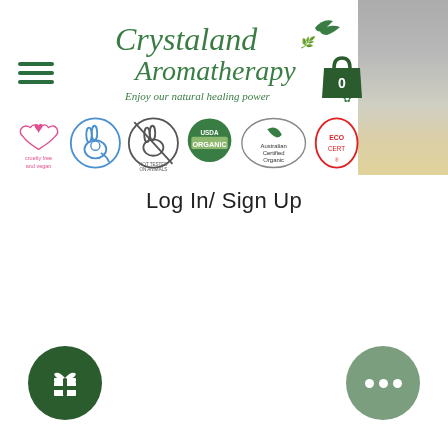[Figure (logo): Crystaland Aromatherapy logo with bird/leaf design and tagline 'Enjoy our natural healing power']
[Figure (logo): Row of certification logos: Cruelty Free and Vegan, Leaping Bunny, Not Tested On Animals, USDA Organic, Australian Certified Organic, ECOCERT]
[Figure (screenshot): Blurred product image on right side of header]
Log In/ Sign Up
[Figure (infographic): Dark green circular gift/rewards button at bottom left]
[Figure (infographic): Sage green circular menu/more button with three dots at bottom right]